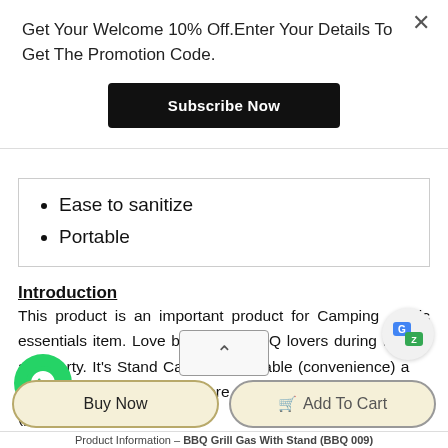Get Your Welcome 10% Off.Enter Your Details To Get The Promotion Code.
Subscribe Now
Ease to sanitize
Portable
Introduction
This product is an important product for Camping picnic essentials item. Love by a lot of BBQ lovers during the season and party. It's Stand Can Be Adjustable (convenience) and bring along to everywhere exp-picnic and camping (portable).
Buy Now
Add To Cart
Product Information – BBQ Grill Gas With Stand (BBQ 009)